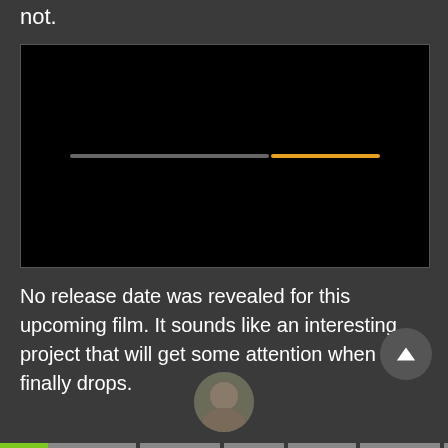not.
[Figure (screenshot): A black video player with a progress/loading bar in the center. The bar consists of a gray segment on the left and an orange segment on the right.]
No release date was revealed for this upcoming film. It sounds like an interesting project that will get some attention when it finally drops.
[Figure (photo): Bottom of page showing a partial circular thumbnail of a person and a multi-segment horizontal progress bar in various gray and green colors at the very bottom.]